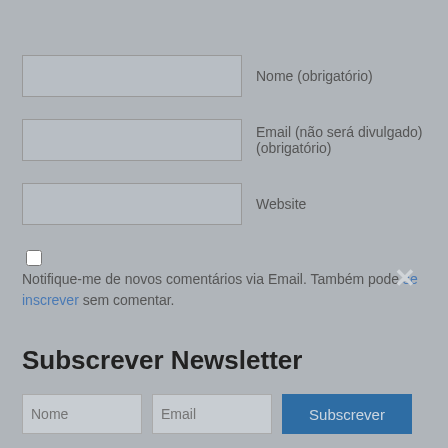Nome (obrigatório)
Email (não será divulgado)(obrigatório)
Website
Notifique-me de novos comentários via Email. Também pode se inscrever sem comentar.
COMENTAR
Subscrever Newsletter
Nome   Email   Subscrever